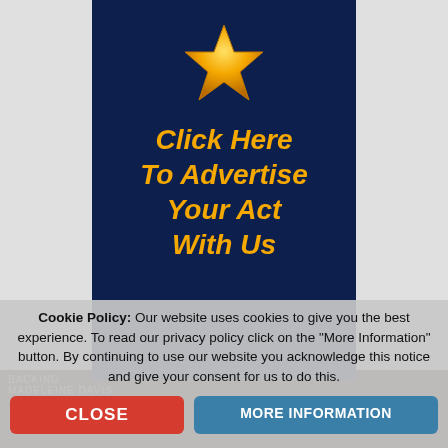[Figure (illustration): Advertisement banner with dark navy background, a gold star at the top, and orange italic bold text reading 'Click Here To Advertise Your Act With Us']
Cookie Policy: Our website uses cookies to give you the best experience. To read our privacy policy click on the "More Information" button. By continuing to use our website you acknowledge this notice and give your consent for us to do this.
CLOSE
MORE INFORMATION